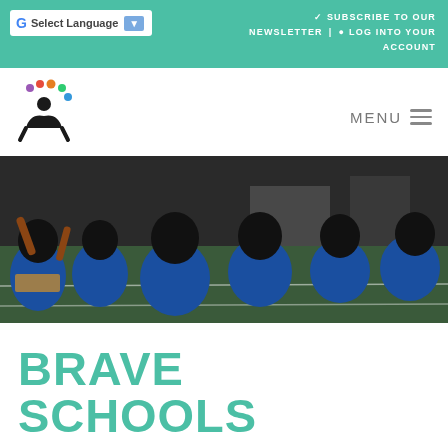Select Language | ✓ SUBSCRIBE TO OUR NEWSLETTER | LOG INTO YOUR ACCOUNT
[Figure (logo): Creative Action logo with colorful dots above a figure icon]
MENU
[Figure (photo): Children in blue AISD Proud shirts sitting on floor in a classroom, viewed from behind]
BRAVE SCHOOLS